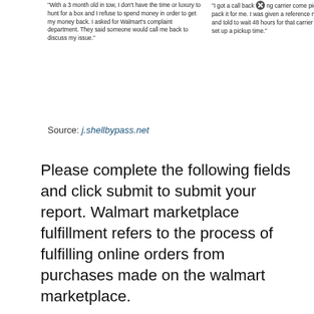"With a 3 month old in tow, I don't have the time or luxury to hunt for a box and I refuse to spend money in order to get my money back. I asked for Walmart's complaint department. They said someone would call me back to discuss my issue."
"I got a call back and they said they would have a shipping carrier come pick up my item and pack it for me. I was given a reference number for that call and told to wait 48 hours for that carrier to contact me and set up a pickup time."
Source: j.shellbypass.net
Please complete the following fields and click submit to submit your report. Walmart marketplace fulfillment refers to the process of fulfilling online orders from purchases made on the walmart marketplace.
[Figure (infographic): Walmart promotional banner: 'Now you can order online and pay with cash at your store. Order products at Walmart.com. Pay with cash at your store.' with step numbers 1, 2, 3 shown below.]